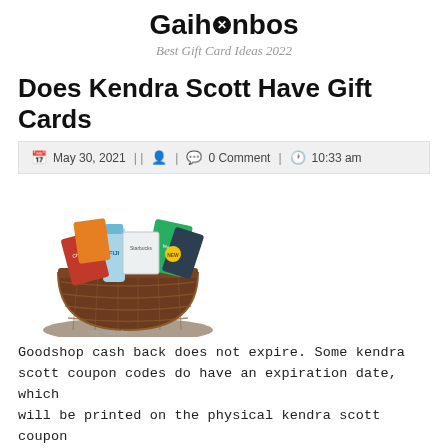Gaihanbos — Best Gift Card Ideas 2022
Does Kendra Scott Have Gift Cards
May 30, 2021 | | [user icon] | [comment icon] 0 Comment | [clock icon] 10:33 am
[Figure (photo): A gift basket filled with various food and beverage items including a Fiji water bottle, chocolates, and other packaged snacks, sitting in a dark wicker basket.]
Goodshop cash back does not expire. Some kendra scott coupon codes do have an expiration date, which will be printed on the physical kendra scott coupon or included on the digital [x] ndra scott coupon you're